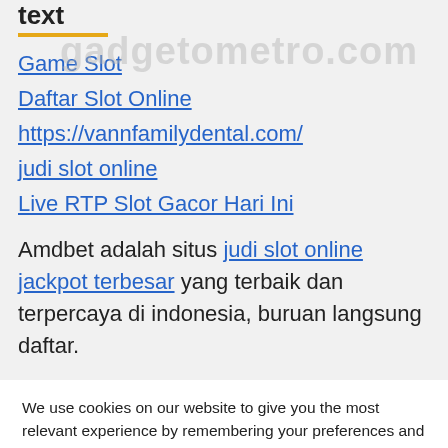text
Game Slot
Daftar Slot Online
https://vannfamilydental.com/
judi slot online
Live RTP Slot Gacor Hari Ini
Amdbet adalah situs judi slot online jackpot terbesar yang terbaik dan terpercaya di indonesia, buruan langsung daftar.
We use cookies on our website to give you the most relevant experience by remembering your preferences and repeat visits. By clicking “Accept All”, you consent to the use of ALL the cookies. However, you may visit "Cookie Settings" to provide a controlled consent.